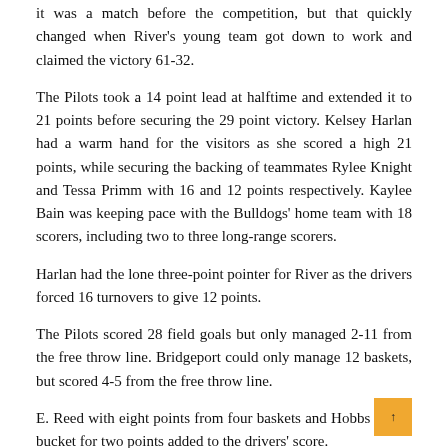it was a match before the competition, but that quickly changed when River's young team got down to work and claimed the victory 61-32.
The Pilots took a 14 point lead at halftime and extended it to 21 points before securing the 29 point victory. Kelsey Harlan had a warm hand for the visitors as she scored a high 21 points, while securing the backing of teammates Rylee Knight and Tessa Primm with 16 and 12 points respectively. Kaylee Bain was keeping pace with the Bulldogs' home team with 18 scorers, including two to three long-range scorers.
Harlan had the lone three-point pointer for River as the drivers forced 16 turnovers to give 12 points.
The Pilots scored 28 field goals but only managed 2-11 from the free throw line. Bridgeport could only manage 12 baskets, but scored 4-5 from the free throw line.
E. Reed with eight points from four baskets and Hobbs with a bucket for two points added to the drivers' score.
Related Posts: